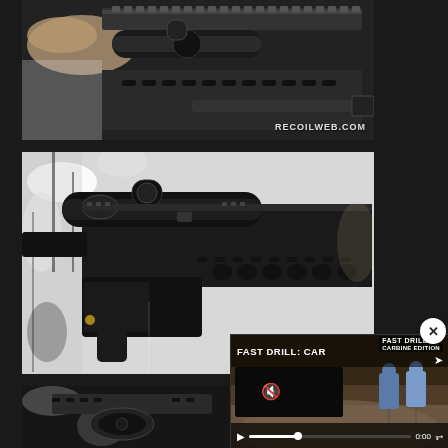[Figure (photo): Close-up photo of AR-style rifle rail and scope, with RECOILWEB.COM watermark in bottom right corner. Black firearm with tactical hand guard rail system, scope visible.]
[Figure (photo): Side profile photo of AR-style rifle with scope mounted on top rail, M-LOK handguard, pistol grip visible. Black rifle against camouflage patterned background.]
[Figure (photo): Close-up detail photo of rifle lower receiver area showing charging handle and lower rail, black and white patterned background.]
[Figure (screenshot): Video player overlay showing 'FAST DRILL: CAR...' title with FAST DRILL CARBINE EDITION badge. Video shows shooter on range with blue target silhouettes. Controls show muted audio, play button, progress bar at 0:00, and fullscreen button.]